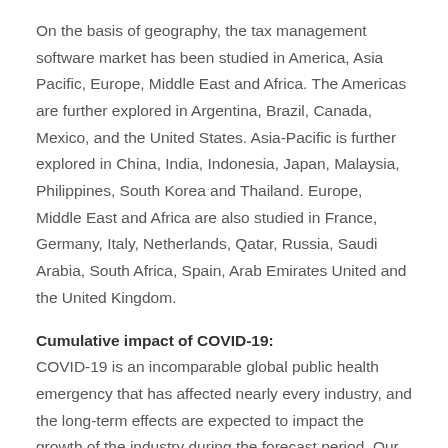On the basis of geography, the tax management software market has been studied in America, Asia Pacific, Europe, Middle East and Africa. The Americas are further explored in Argentina, Brazil, Canada, Mexico, and the United States. Asia-Pacific is further explored in China, India, Indonesia, Japan, Malaysia, Philippines, South Korea and Thailand. Europe, Middle East and Africa are also studied in France, Germany, Italy, Netherlands, Qatar, Russia, Saudi Arabia, South Africa, Spain, Arab Emirates United and the United Kingdom.
Cumulative impact of COVID-19:
COVID-19 is an incomparable global public health emergency that has affected nearly every industry, and the long-term effects are expected to impact the growth of the industry during the forecast period. Our ongoing research amplifies our research framework to ensure the inclusion of the underlying issues of COVID-19 and potential pathways to follow. The report provides insights on COVID-19 considering changes in consumer behavior and